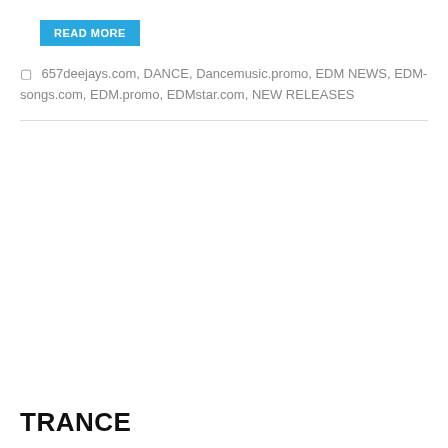READ MORE
657deejays.com, DANCE, Dancemusic.promo, EDM NEWS, EDM-songs.com, EDM.promo, EDMstar.com, NEW RELEASES
TRANCE